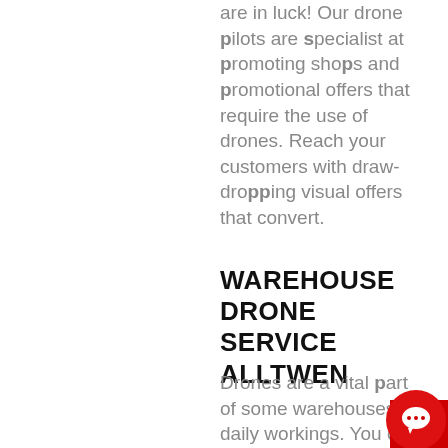are in luck! Our drone pilots are specialist at promoting shops and promotional offers that require the use of drones. Reach your customers with draw-dropping visual offers that convert.
WAREHOUSE DRONE SERVICE ALLTWEN
Drones are a vital part of some warehouses daily workings. You can use drones to check stock, manage big plants and automate a daily
[Figure (other): Red chat widget button with white speech bubble icon in bottom-right corner]